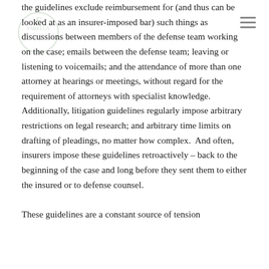the guidelines exclude reimbursement for (and thus can be looked at as an insurer-imposed bar) such things as discussions between members of the defense team working on the case; emails between the defense team; leaving or listening to voicemails; and the attendance of more than one attorney at hearings or meetings, without regard for the requirement of attorneys with specialist knowledge. Additionally, litigation guidelines regularly impose arbitrary restrictions on legal research; and arbitrary time limits on drafting of pleadings, no matter how complex.  And often, insurers impose these guidelines retroactively – back to the beginning of the case and long before they sent them to either the insured or to defense counsel.
These guidelines are a constant source of tension